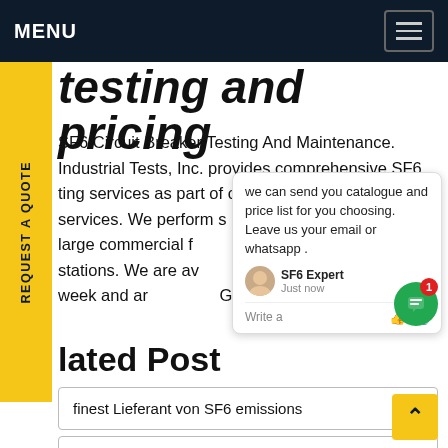MENU
testing and pricing
SF6 Circuit Breaker Testing And Maintenance. Industrial Tests, Inc. provides comprehensive SF6 testing services as part of our Electrical and Maintenance services. We perform services for industrial plants, large commercial facilities, municipal power stations. We are available 24 hours a day, seven days a week and are mobile. Get service
[Figure (screenshot): Chat popup overlay with message: we can send you catalogue and price list for you choosing. Leave us your email or whatsapp. SF6 Expert - just now. Write a message input area.]
Related Post
finest Lieferant von SF6 emissions
leading SF6 Specjalista ds SF6 machine prices